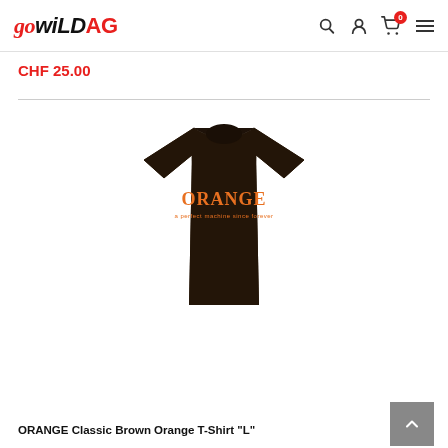go wild ag — navigation header with logo, search, account, cart (0), and menu icons
CHF 25.00
[Figure (photo): Dark brown t-shirt with orange ORANGE brand text printed on the chest, displayed on white background]
ORANGE Classic Brown Orange T-Shirt "L"